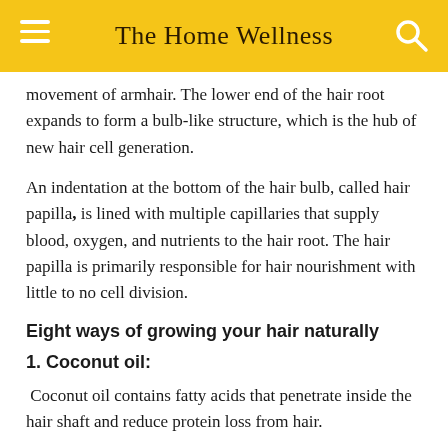The Home Wellness
movement of armhair. The lower end of the hair root expands to form a bulb-like structure, which is the hub of new hair cell generation.
An indentation at the bottom of the hair bulb, called hair papilla, is lined with multiple capillaries that supply blood, oxygen, and nutrients to the hair root. The hair papilla is primarily responsible for hair nourishment with little to no cell division.
Eight ways of growing your hair naturally
1. Coconut oil:
Coconut oil contains fatty acids that penetrate inside the hair shaft and reduce protein loss from hair.